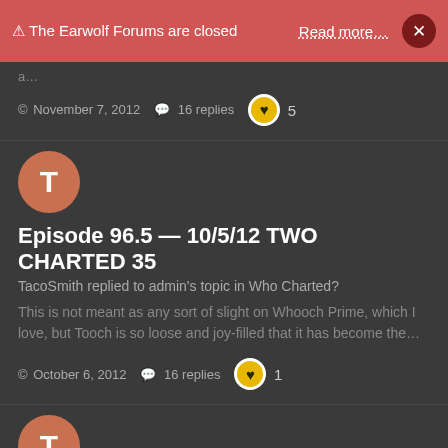⚠ The Earwolf Forums are closed   Read more…   ×
a…
© November 7, 2012   💬 16 replies   ❤ 5
[Figure (illustration): Salmon/orange circular avatar with letter T]
Episode 96.5 — 10/5/12 TWO CHARTED 35
TacoSmith replied to admin's topic in Who Charted?
This is not meant as any sort of slight on Whooch Prime, which I love, but Tooch is so loose and joy-filled that it has become the…
© October 6, 2012   💬 16 replies   ❤ 1
[Figure (illustration): Salmon/orange circular avatar with letter T]
Episode 95.5 — 9/28/12 TWO CHARTED 34
TacoSmith replied to admin's topic in Who Charted?